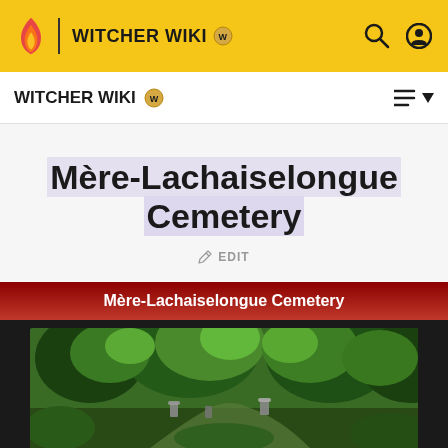WITCHER WIKI
WITCHER WIKI
Mère-Lachaiselongue Cemetery
✏ EDIT
[Figure (screenshot): Info box with dark background showing 'Mère-Lachaiselongue Cemetery' header in red gradient, and a game screenshot of a lush green cemetery with trees, gravestones and overgrown vegetation]